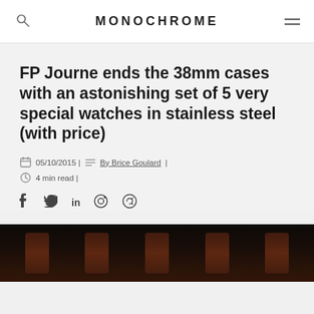MONOCHROME
FP Journe ends the 38mm cases with an astonishing set of 5 very special watches in stainless steel (with price)
05/10/2015 | By Brice Goulard | 4 min read |
[Figure (photo): Dark photo strip showing five watch silhouettes against a black background]